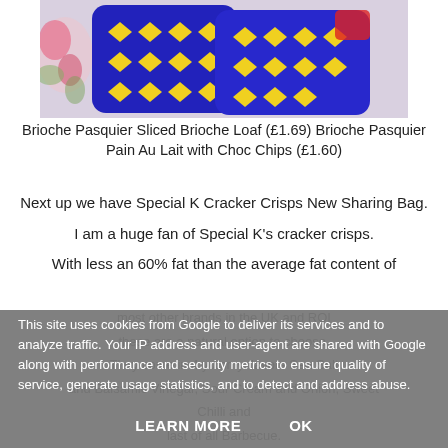[Figure (photo): Blue packaging with yellow diamond pattern — Brioche Pasquier products on a floral background]
Brioche Pasquier Sliced Brioche Loaf (£1.69) Brioche Pasquier Pain Au Lait with Choc Chips (£1.60)
Next up we have Special K Cracker Crisps New Sharing Bag.
I am a huge fan of Special K's cracker crisps.
With less an 60% fat than the average fat content of most other brands in the UK and ROI
these are a natural option to choose.
They come in 4 yummy flavors Sea Salt and Balsamic Vinegar, Sour Cream and Onion, Sweet Chilli and last of all Barbecue.
They can be brought in most stores and are sold in 23g individual bags, 80g sharing packs and 4x31g multi-packs.
This site uses cookies from Google to deliver its services and to analyze traffic. Your IP address and user-agent are shared with Google along with performance and security metrics to ensure quality of service, generate usage statistics, and to detect and address abuse.
LEARN MORE    OK